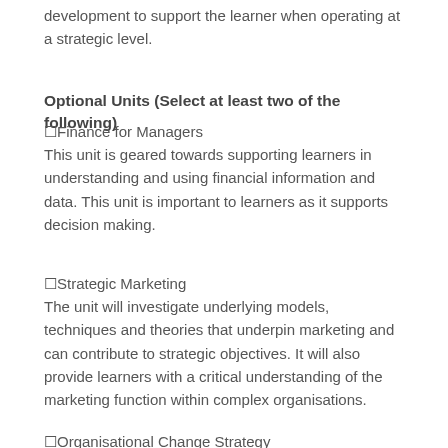development to support the learner when operating at a strategic level.
Optional Units (Select at least two of the following)
□Finance for Managers
This unit is geared towards supporting learners in understanding and using financial information and data. This unit is important to learners as it supports decision making.
□Strategic Marketing
The unit will investigate underlying models, techniques and theories that underpin marketing and can contribute to strategic objectives. It will also provide learners with a critical understanding of the marketing function within complex organisations.
□Organisational Change Strategy